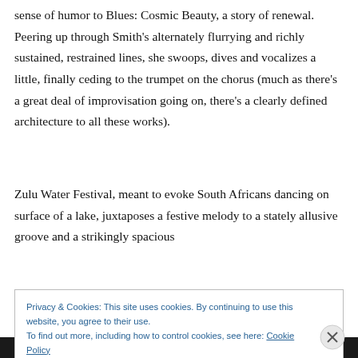sense of humor to Blues: Cosmic Beauty, a story of renewal. Peering up through Smith's alternately flurrying and richly sustained, restrained lines, she swoops, dives and vocalizes a little, finally ceding to the trumpet on the chorus (much as there's a great deal of improvisation going on, there's a clearly defined architecture to all these works).
Zulu Water Festival, meant to evoke South Africans dancing on surface of a lake, juxtaposes a festive melody to a stately allusive groove and a strikingly spacious
Privacy & Cookies: This site uses cookies. By continuing to use this website, you agree to their use.
To find out more, including how to control cookies, see here: Cookie Policy